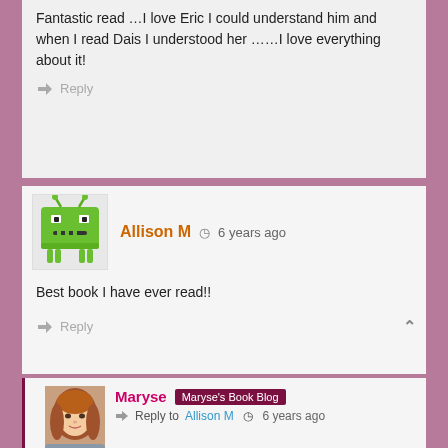Fantastic read …I love Eric I could understand him and when I read Dais I understood her ……I love everything about it!
Reply
Allison M  6 years ago
Best book I have ever read!!
Reply
Maryse  Maryse's Book Blog  Reply to Allison M  6 years ago
Allison… I am right there with you!!! 😊 Well one of 'em, at least. 🙂
Reply